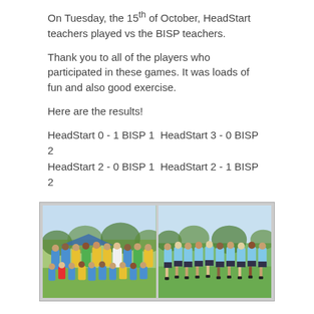On Tuesday, the 15th of October, HeadStart teachers played vs the BISP teachers.
Thank you to all of the players who participated in these games. It was loads of fun and also good exercise.
Here are the results!
HeadStart 0 - 1 BISP 1 HeadStart 3 - 0 BISP 2
HeadStart 2 - 0 BISP 1 HeadStart 2 - 1 BISP 2
[Figure (photo): Two group photos of football/soccer teams posing on a field. Left photo shows a large mixed group in colorful jerseys (green, yellow, blue). Right photo shows a team in light blue jerseys with dark shorts.]
James Van Herzeele Plays Tennis with Sharapova by Miki Edouard, Events Manager
James Van Herzeele started in Year 7 A...